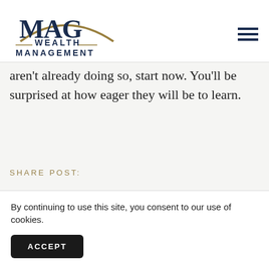MAG Wealth Management
aren’t already doing so, start now. You’ll be surprised at how eager they will be to learn.
SHARE POST:
[Figure (other): Social share icons row: Facebook (f), Twitter (bird), LinkedIn (in), Email (envelope)]
By continuing to use this site, you consent to our use of cookies.
ACCEPT